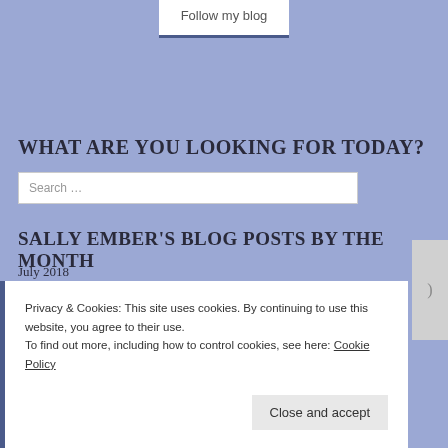[Figure (screenshot): Follow my blog button with white background and blue bottom border]
http://widget.networkedblogs.com/getwidget?bid=1360288
WHAT ARE YOU LOOKING FOR TODAY?
[Figure (screenshot): Search input box with placeholder text 'Search ...']
SALLY EMBER'S BLOG POSTS BY THE MONTH
July 2018
Privacy & Cookies: This site uses cookies. By continuing to use this website, you agree to their use.
To find out more, including how to control cookies, see here: Cookie Policy
Close and accept